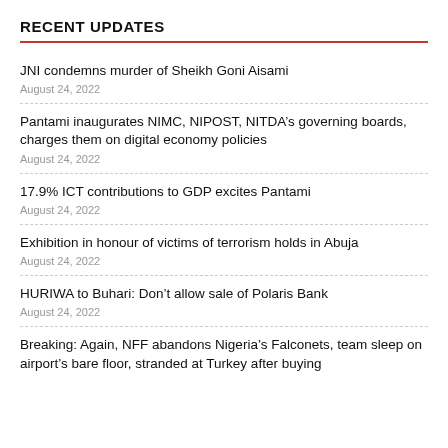RECENT UPDATES
JNI condemns murder of Sheikh Goni Aisami
August 24, 2022
Pantami inaugurates NIMC, NIPOST, NITDA’s governing boards, charges them on digital economy policies
August 24, 2022
17.9% ICT contributions to GDP excites Pantami
August 24, 2022
Exhibition in honour of victims of terrorism holds in Abuja
August 24, 2022
HURIWA to Buhari: Don’t allow sale of Polaris Bank
August 24, 2022
Breaking: Again, NFF abandons Nigeria’s Falconets, team sleep on airport’s bare floor, stranded at Turkey after buying